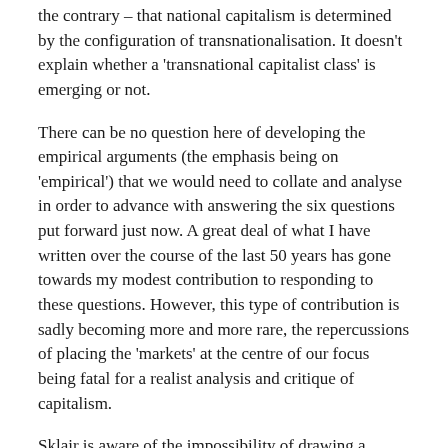the contrary – that national capitalism is determined by the configuration of transnationalisation. It doesn't explain whether a 'transnational capitalist class' is emerging or not.
There can be no question here of developing the empirical arguments (the emphasis being on 'empirical') that we would need to collate and analyse in order to advance with answering the six questions put forward just now. A great deal of what I have written over the course of the last 50 years has gone towards my modest contribution to responding to these questions. However, this type of contribution is sadly becoming more and more rare, the repercussions of placing the 'markets' at the centre of our focus being fatal for a realist analysis and critique of capitalism.
Sklair is aware of the impossibility of drawing a conclusion on the emergence of a 'post-national' capitalism. He writes, 'we should speak of a transnational capitalist class only if there are structural conditions that reproduces a transnational corporate community independent of its national home base' (Carroll, p. 19). And yet these 'structural conditions' are far from being